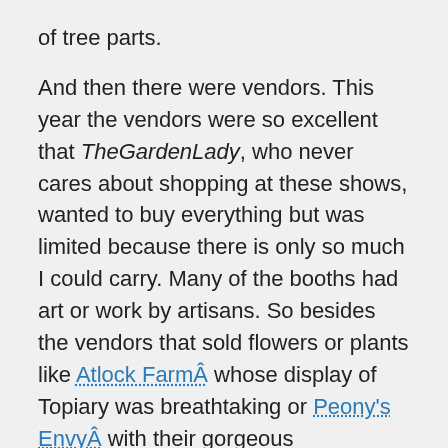of tree parts.

And then there were vendors. This year the vendors were so excellent that TheGardenLady, who never cares about shopping at these shows, wanted to buy everything but was limited because there is only so much I could carry. Many of the booths had art or work by artisans. So besides the vendors that sold flowers or plants like Atlock FarmÂ whose display of Topiary was breathtaking or Peony’s EnvyÂ with their gorgeous photographs of peonies, there were vendors who sold butterflies from Peru that were artistically framed in Peru; a vendor who sold his wife’s hand done Literary Calligraphy andÂ a photographer, Duncan Hall,Â from England who now lives in Connecticut who had taken photographs, mostly of gardens, around the world.Â D&M Images is the name